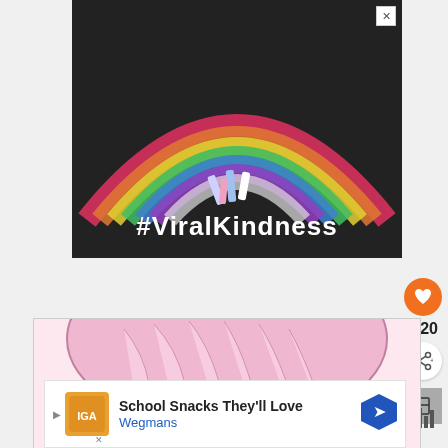[Figure (photo): Chalk rainbow drawn on asphalt with chalk sticks placed at center, overlaid with white bold text '#ViralKindness'. A close (X) button appears in top-right corner.]
[Figure (illustration): Anime-style illustration showing the top of a character's head with pink hair.]
[Figure (infographic): Bottom banner advertisement for Wegmans showing 'School Snacks They'll Love' with Wegmans logo, blue navigation arrow icon, play controls and close button.]